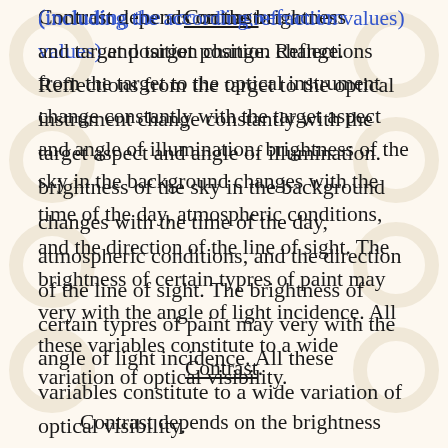(including the according refraction values) and target position change. Reflections from the target to the optical instrument change constantly with the target aspect and angle of illumination. brightness of the sky in the background changes with the time of the day, atmospheric conditions, and the direction of the line of sight. The brightness of certain typres of paint may very with the angle of light incidence. All these variables constitute to a wide variation of optical visibility.
Contrast.
Contrast depends on the brightness